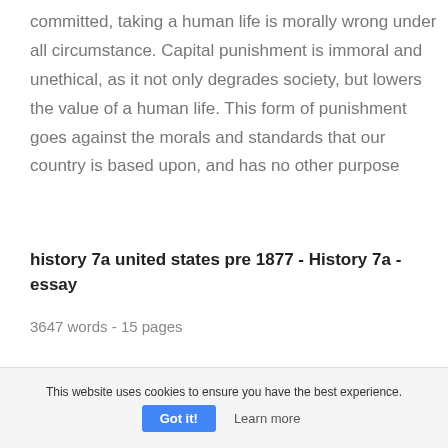committed, taking a human life is morally wrong under all circumstance. Capital punishment is immoral and unethical, as it not only degrades society, but lowers the value of a human life. This form of punishment goes against the morals and standards that our country is based upon, and has no other purpose
history 7a united states pre 1877 - History 7a - essay
3647 words - 15 pages
This website uses cookies to ensure you have the best experience.